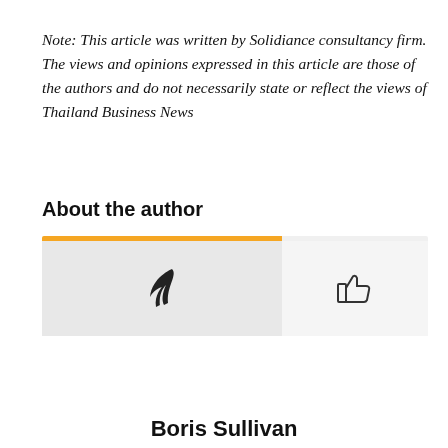Note: This article was written by Solidiance consultancy firm. The views and opinions expressed in this article are those of the authors and do not necessarily state or reflect the views of Thailand Business News
About the author
[Figure (other): Author card with orange top bar, left grey panel with feather icon, right panel with thumbs-up icon]
[Figure (other): Notification popup card with blue bell button with badge '2', close button X, showing link 'Thai property gains foreign popularity' and timestamp '22 hours ago']
Boris Sullivan